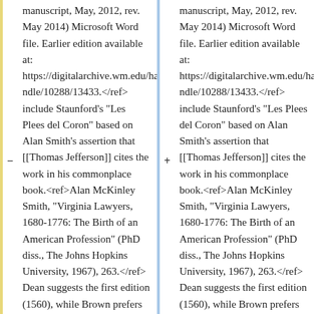manuscript, May, 2012, rev. May 2014) Microsoft Word file. Earlier edition available at: https://digitalarchive.wm.edu/handle/10288/13433.</ref> include Staunford's "Les Plees del Coron" based on Alan Smith's assertion that [[Thomas Jefferson]] cites the work in his commonplace book.<ref>Alan McKinley Smith, "Virginia Lawyers, 1680-1776: The Birth of an American Profession" (PhD diss., The Johns Hopkins University, 1967), 263.</ref> Dean suggests the first edition (1560), while Brown prefers the 1583-1590 edition based on Jefferson's copy at the Library of Congress.<ref>E. Millicent
manuscript, May, 2012, rev. May 2014) Microsoft Word file. Earlier edition available at: https://digitalarchive.wm.edu/handle/10288/13433.</ref> include Staunford's "Les Plees del Coron" based on Alan Smith's assertion that [[Thomas Jefferson]] cites the work in his commonplace book.<ref>Alan McKinley Smith, "Virginia Lawyers, 1680-1776: The Birth of an American Profession" (PhD diss., The Johns Hopkins University, 1967), 263.</ref> Dean suggests the first edition (1560), while Brown prefers the 1583-1590 edition based on Jefferson's copy at the Library of Congress.<ref>E. Millicent